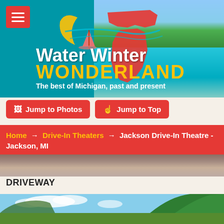[Figure (screenshot): Website banner for Water Winter Wonderland - The best of Michigan, past and present. Shows Michigan state outline in orange/red, crescent moon, sailboat logo on teal background with landscape photo of water and forested hills on the right. Red hamburger menu button top left.]
Jump to Photos
Jump to Top
Home → Drive-In Theaters → Jackson Drive-In Theatre - Jackson, MI
[Figure (photo): Narrow strip showing golden field/grassland terrain]
DRIVEWAY
[Figure (photo): Outdoor driveway photo showing sky with clouds and dense green trees]